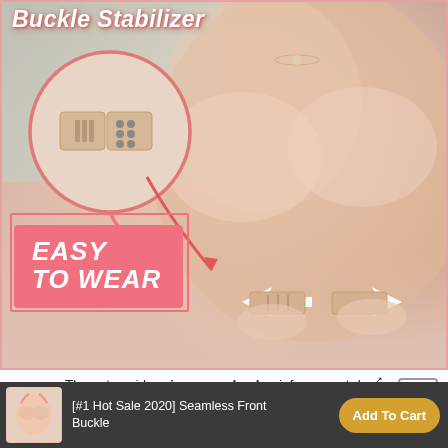[Figure (photo): Product photo of a beige/nude seamless front buckle bra with a circle inset showing the buckle closure detail, plus pink arrows indicating ease of wear. Overlaid text reads 'Buckle Stabilizer' at top and 'EASY TO WEAR' in a pink box at lower left.]
The extra wide criss cross back reinforcement des' pulls shoulder backwards against rounded back but strengthen breast's supporting tissue & pectoral muscles
[#1 Hot Sale 2020] Seamless Front Buckle  |  Add To Cart